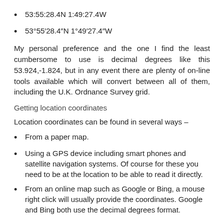53:55:28.4N 1:49:27.4W
53°55′28.4″N 1°49′27.4″W
My personal preference and the one I find the least cumbersome to use is decimal degrees like this 53.924,-1.824, but in any event there are plenty of on-line tools available which will convert between all of them, including the U.K. Ordnance Survey grid.
Getting location coordinates
Location coordinates can be found in several ways –
From a paper map.
Using a GPS device including smart phones and satellite navigation systems. Of course for these you need to be at the location to be able to read it directly.
From an online map such as Google or Bing, a mouse right click will usually provide the coordinates. Google and Bing both use the decimal degrees format.